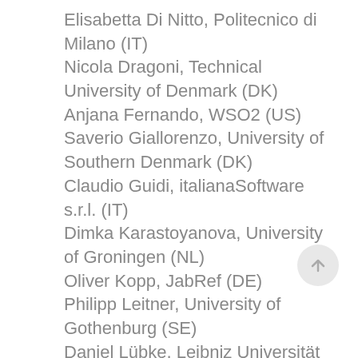Elisabetta Di Nitto, Politecnico di Milano (IT)
Nicola Dragoni, Technical University of Denmark (DK)
Anjana Fernando, WSO2 (US)
Saverio Giallorenzo, University of Southern Denmark (DK)
Claudio Guidi, italianaSoftware s.r.l. (IT)
Dimka Karastoyanova, University of Groningen (NL)
Oliver Kopp, JabRef (DE)
Philipp Leitner, University of Gothenburg (SE)
Daniel Lübke, Leibniz Universität Hannover (DE)
Tiziana Margaria, Lero (IE)